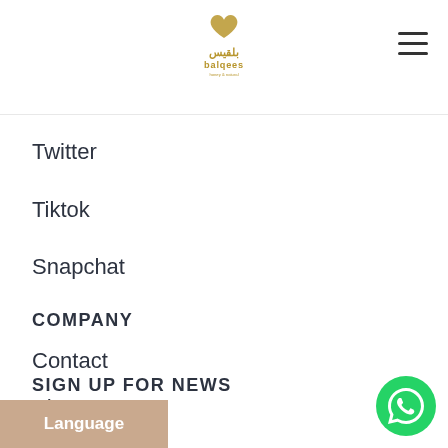balqees logo and navigation hamburger menu
Twitter
Tiktok
Snapchat
COMPANY
Contact
Shop
SIGN UP FOR NEWS
Language